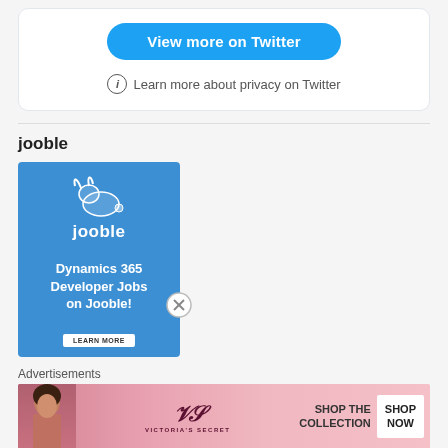[Figure (screenshot): Twitter embedded widget with a blue 'View more on Twitter' button and a privacy info line]
Learn more about privacy on Twitter
jooble
[Figure (illustration): Jooble job board advertisement with blue background, Jooble logo and rabbit, text 'Dynamics 365 Developer Jobs on Jooble!' and a LEARN MORE button]
Advertisements
[Figure (illustration): Victoria's Secret advertisement banner with model, VS logo, 'SHOP THE COLLECTION' text, and SHOP NOW button]